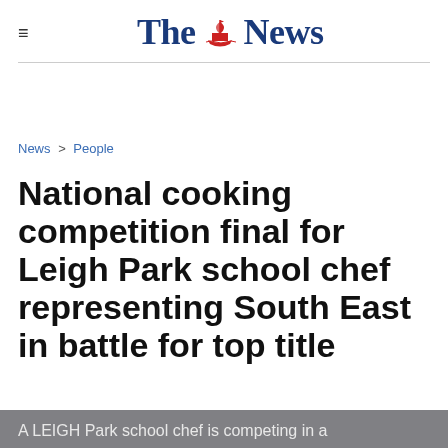The News
News > People
National cooking competition final for Leigh Park school chef representing South East in battle for top title
A LEIGH Park school chef is competing in a